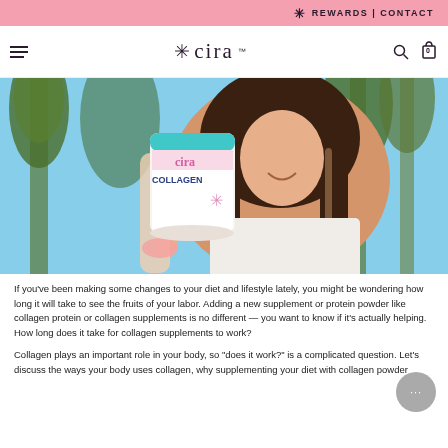REWARDS | CONTACT
[Figure (logo): Cira brand logo with asterisk star and 'cira' text, plus navigation icons (hamburger menu, search, cart with 0 items)]
[Figure (photo): Woman smiling outdoors holding up a Cira Collagen protein powder tub, with palm trees in background]
If you've been making some changes to your diet and lifestyle lately, you might be wondering how long it will take to see the fruits of your labor. Adding a new supplement or protein powder like collagen protein or collagen supplements is no different — you want to know if it's actually helping. How long does it take for collagen supplements to work?
Collagen plays an important role in your body, so "does it work?" is a complicated question. Let's discuss the ways your body uses collagen, why supplementing your diet with collagen powder